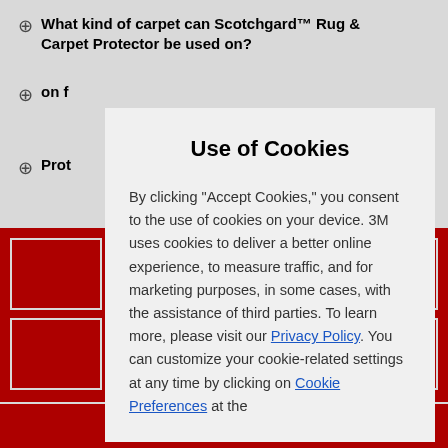⊕  What kind of carpet can Scotchgard™ Rug & Carpet Protector be used on?
⊕  on f…
⊕  Prot…
Use of Cookies
By clicking "Accept Cookies," you consent to the use of cookies on your device. 3M uses cookies to deliver a better online experience, to measure traffic, and for marketing purposes, in some cases, with the assistance of third parties. To learn more, please visit our Privacy Policy. You can customize your cookie-related settings at any time by clicking on Cookie Preferences at the
CALL US: 1-800-364-3577